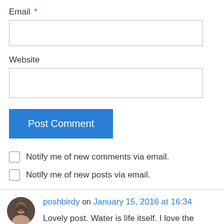Email *
Website
Post Comment
Notify me of new comments via email.
Notify me of new posts via email.
poshbirdy on January 15, 2016 at 16:34
Lovely post. Water is life itself. I love the